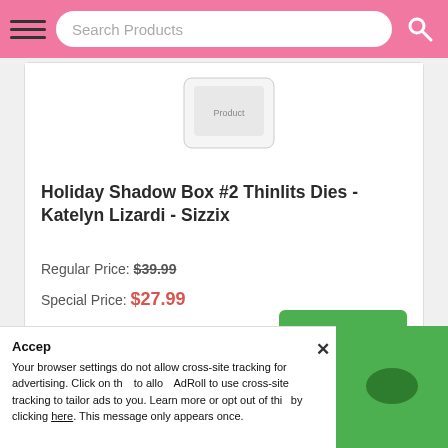Search Products
[Figure (photo): Product image area for Holiday Shadow Box #2 Thinlits Dies (partially visible, cropped at top)]
Holiday Shadow Box #2 Thinlits Dies - Katelyn Lizardi - Sizzix
Regular Price: $39.99
Special Price: $27.99
Add to Cart
[Figure (screenshot): Bottom portion of a second product card, mostly blank white]
Accept
Your browser settings do not allow cross-site tracking for advertising. Click on this to allow AdRoll to use cross-site tracking to tailor ads to you. Learn more or opt out of this by clicking here. This message only appears once.